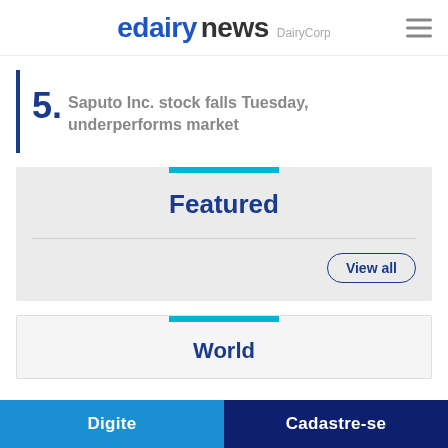edairynews DairyCorp
5. Saputo Inc. stock falls Tuesday, underperforms market
Featured
View all
World
Digite
Cadastre-se